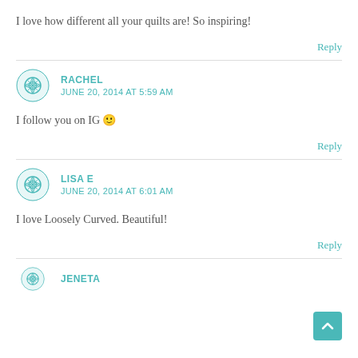I love how different all your quilts are! So inspiring!
Reply
RACHEL
JUNE 20, 2014 AT 5:59 AM
I follow you on IG 🙂
Reply
LISA E
JUNE 20, 2014 AT 6:01 AM
I love Loosely Curved. Beautiful!
Reply
JENETA